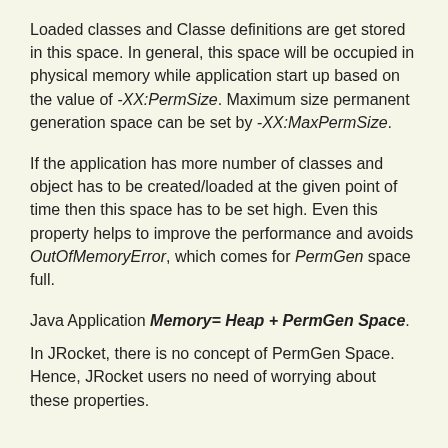Loaded classes and Classe definitions are get stored in this space. In general, this space will be occupied in physical memory while application start up based on the value of -XX:PermSize. Maximum size permanent generation space can be set by -XX:MaxPermSize.
If the application has more number of classes and object has to be created/loaded at the given point of time then this space has to be set high. Even this property helps to improve the performance and avoids OutOfMemoryError, which comes for PermGen space full.
Java Application Memory= Heap + PermGen Space.
In JRocket, there is no concept of PermGen Space. Hence, JRocket users no need of worrying about these properties.